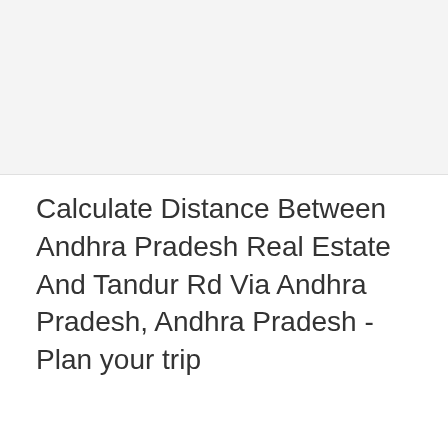Calculate Distance Between Andhra Pradesh Real Estate And Tandur Rd Via Andhra Pradesh, Andhra Pradesh - Plan your trip